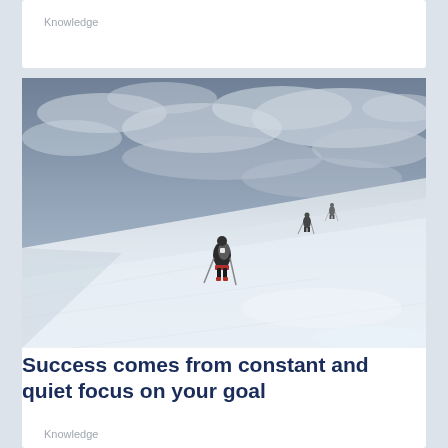Knowledge
[Figure (photo): Mountain climbers ascending a steep snow-covered slope under a dramatic cloudy sky. The foreground shows a hiker with a backpack and ski poles, with two more figures visible higher up the slope in the background.]
Success comes from constant and quiet focus on your goal
Knowledge